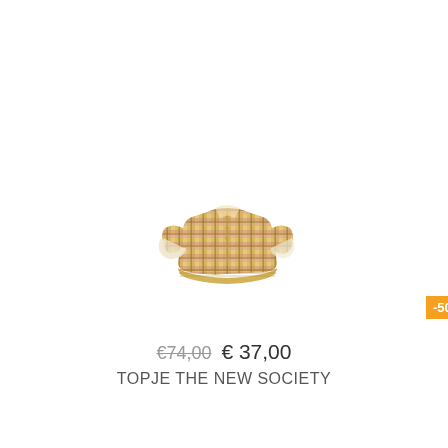[Figure (other): Orange discount badge showing -50%]
[Figure (photo): A children's cropped plaid top with short puff sleeves in yellow, pink and white tartan pattern, smocked waistband, from The New Society brand.]
€74,00 € 37,00
TOPJE THE NEW SOCIETY